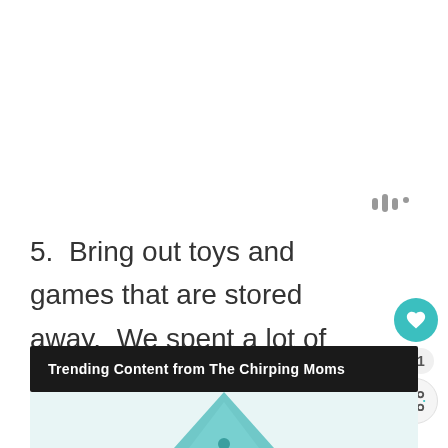[Figure (logo): Watermark or icon symbol in gray, top right area]
5.  Bring out toys and games that are stored away.  We spent a lot of time playing Chutes and Ladders, floo puzzles, and Zingo yesterday!
Trending Content from The Chirping Moms
[Figure (photo): Partial image of what appears to be a teal/green toy or game piece visible at bottom of page]